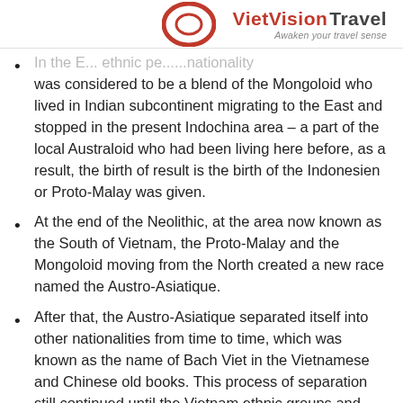VietVisionTravel – Awaken your travel sense
In the E... ethnic personality was considered to be a blend of the Mongoloid who lived in Indian subcontinent migrating to the East and stopped in the present Indochina area – a part of the local Australoid who had been living here before, as a result, the birth of result is the birth of the Indonesien or Proto-Malay was given.
At the end of the Neolithic, at the area now known as the South of Vietnam, the Proto-Malay and the Mongoloid moving from the North created a new race named the Austro-Asiatique.
After that, the Austro-Asiatique separated itself into other nationalities from time to time, which was known as the name of Bach Viet in the Vietnamese and Chinese old books. This process of separation still continued until the Vietnam ethnic groups and their languages were formed as seen in the present.